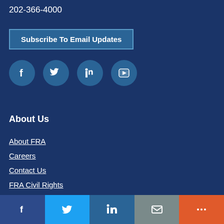202-366-4000
Subscribe To Email Updates
[Figure (infographic): Social media icons: Facebook, Twitter, LinkedIn, YouTube in circular buttons]
About Us
About FRA
Careers
Contact Us
FRA Civil Rights
Doing Business with FRA
Grants and Financial Assistance
Social share bar: Facebook, Twitter, LinkedIn, Email, More